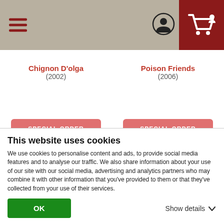[Figure (screenshot): Navigation bar with hamburger menu icon on left, user profile icon and shopping cart icon on dark red background on right]
Chignon D'olga
(2002)
Poison Friends
(2006)
SPECIAL ORDER
SPECIAL ORDER
DVD
List Price: $19.99
DVD
List Price: $19.99
This website uses cookies
We use cookies to personalise content and ads, to provide social media features and to analyse our traffic. We also share information about your use of our site with our social media, advertising and analytics partners who may combine it with other information that you've provided to them or that they've collected from your use of their services.
OK
Show details